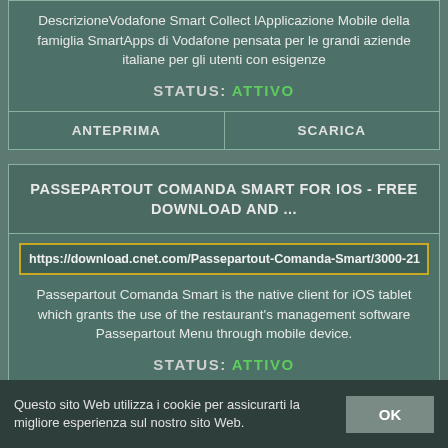DescrizioneVodafone Smart Collect lApplicazione Mobile della famiglia SmartApps di Vodafone pensata per le grandi aziende italiane per gli utenti con esigenze
STATUS: ATTIVO
ANTEPRIMA
SCARICA
PASSEPARTOUT COMANDA SMART FOR IOS - FREE DOWNLOAD AND ...
https://download.cnet.com/Passepartout-Comanda-Smart/3000-21
Passepartout Comanda Smart is the native client for iOS tablet which grants the use of the restaurant's management software Passepartout Menu through mobile device.
STATUS: ATTIVO
Questo sito Web utilizza i cookie per assicurarti la migliore esperienza sul nostro sito Web.
OK